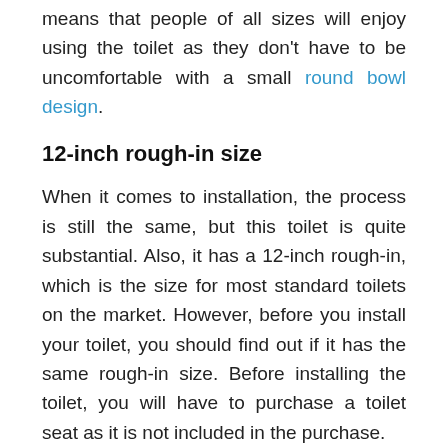means that people of all sizes will enjoy using the toilet as they don't have to be uncomfortable with a small round bowl design.
12-inch rough-in size
When it comes to installation, the process is still the same, but this toilet is quite substantial. Also, it has a 12-inch rough-in, which is the size for most standard toilets on the market. However, before you install your toilet, you should find out if it has the same rough-in size. Before installing the toilet, you will have to purchase a toilet seat as it is not included in the purchase.